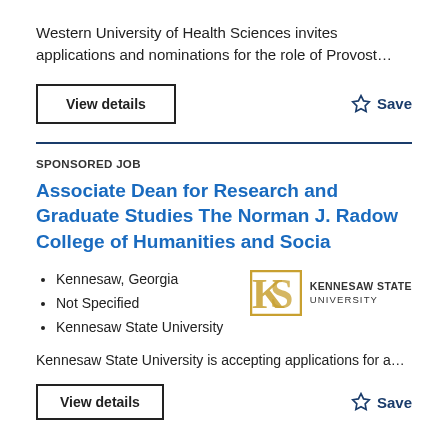Western University of Health Sciences invites applications and nominations for the role of Provost…
View details
☆ Save
SPONSORED JOB
Associate Dean for Research and Graduate Studies The Norman J. Radow College of Humanities and Socia
Kennesaw, Georgia
Not Specified
Kennesaw State University
[Figure (logo): Kennesaw State University logo with interlocking KS monogram in gold and the text KENNESAW STATE UNIVERSITY]
Kennesaw State University is accepting applications for a…
View details
☆ Save